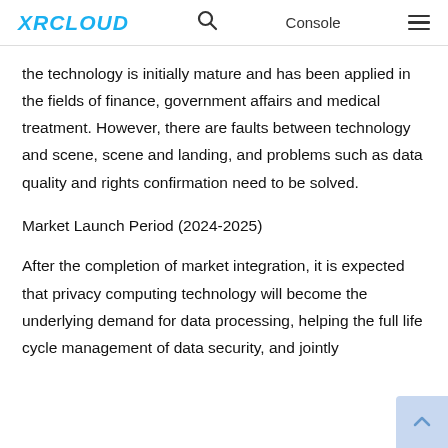XRCLOUD | Console
the technology is initially mature and has been applied in the fields of finance, government affairs and medical treatment. However, there are faults between technology and scene, scene and landing, and problems such as data quality and rights confirmation need to be solved.
Market Launch Period (2024-2025)
After the completion of market integration, it is expected that privacy computing technology will become the underlying demand for data processing, helping the full life cycle management of data security, and jointly building the specialized infrastructure for provincial